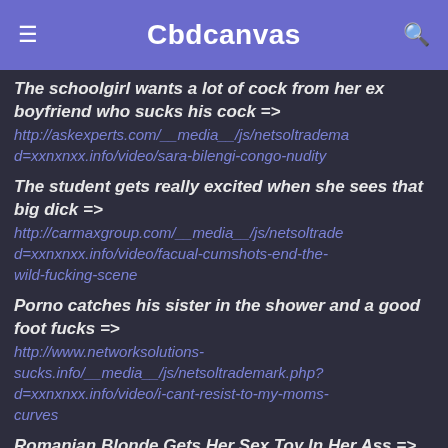Cbdcanvas
The schoolgirl wants a lot of cock from her ex boyfriend who sucks his cock => http://askexperts.com/__media__/js/netsoltrademark.php?d=xxnxnxx.info/video/sara-bilengi-congo-nudity
The student gets really excited when she sees that big dick => http://carmaxgroup.com/__media__/js/netsoltrademark.php?d=xxnxnxx.info/video/facual-cumshots-end-the-wild-fucking-scene
Porno catches his sister in the shower and a good foot fucks => http://www.networksolutions-sucks.info/__media__/js/netsoltrademark.php?d=xxnxnxx.info/video/i-cant-resist-to-my-moms-curves
Romanian Blonde Gets Her Sex Toy In Her Ass => http://www.boundville.com/cgi-bin/a2/out.cgi?id=12&u=https://xxnxnxx.info/video/perverted-stepdad-punishes-his-stepdaughter